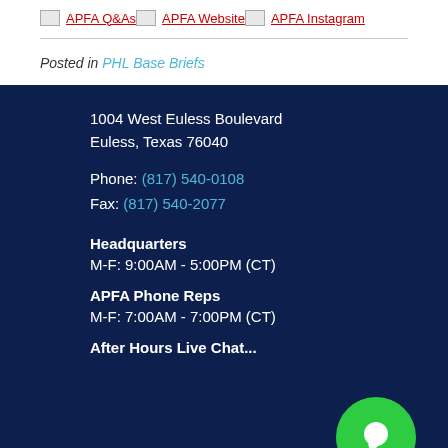[Figure (infographic): Row of three linked image icons with red underlined text labels: APFA Q&As, APFA Website, APFA Instagram]
Posted in PHL Base Briefs
1004 West Euless Boulevard
Euless, Texas 76040
Phone: (817) 540-0108
Fax: (817) 540-2077
Headquarters
M-F: 9:00AM - 5:00PM (CT)
APFA Phone Reps
M-F: 7:00AM - 7:00PM (CT)
After Hours Live Chat...